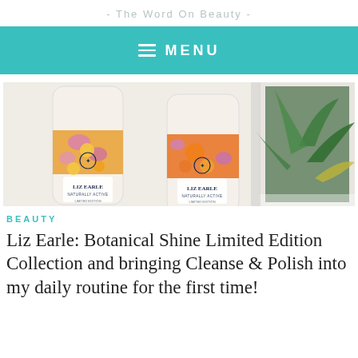- The Word On Beauty -
[Figure (screenshot): Teal navigation menu bar with hamburger icon and 'MENU' text in white on teal background]
[Figure (photo): Two Liz Earle Botanical Shine Limited Edition product tubes with floral and citrus fruit label designs, placed on a white surface next to an open magazine with tropical plant photography]
BEAUTY
Liz Earle: Botanical Shine Limited Edition Collection and bringing Cleanse & Polish into my daily routine for the first time!